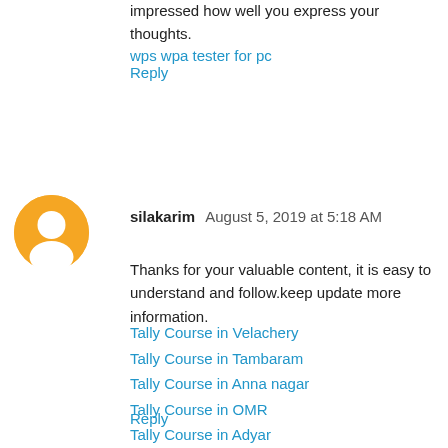impressed how well you express your thoughts.
wps wpa tester for pc
Reply
silakarim  August 5, 2019 at 5:18 AM
Thanks for your valuable content, it is easy to understand and follow.keep update more information.
Tally Course in Velachery
Tally Course in Tambaram
Tally Course in Anna nagar
Tally Course in OMR
Tally Course in Adyar
Tally Course in Thiruvanmiyur
Tally Course in Porur
Tally Course in T Nagar
Tally Course in Vadapalani
Reply